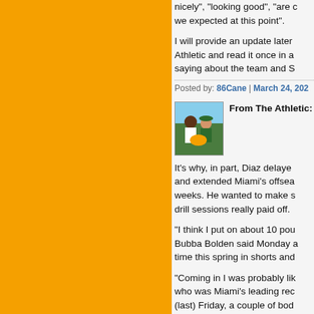nicely", "looking good", "are c we expected at this point".
I will provide an update later Athletic and read it once in a saying about the team and S
Posted by: 86Cane | March 24, 202
[Figure (photo): Avatar photo of two people outdoors]
From The Athletic:
It's why, in part, Diaz delaye and extended Miami's offsea weeks. He wanted to make s drill sessions really paid off.
“I think I put on about 10 pou Bubba Bolden said Monday a time this spring in shorts and
“Coming in I was probably lik who was Miami's leading rec (last) Friday, a couple of bod of muscle mass, eight percen
“With the off...